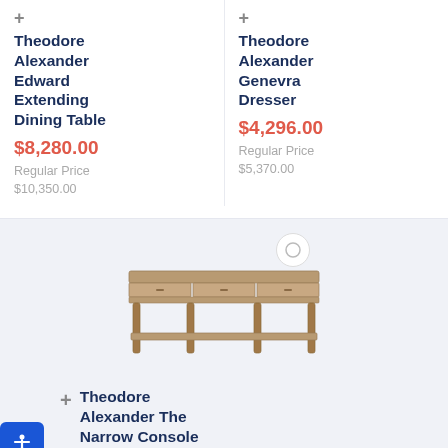Theodore Alexander Edward Extending Dining Table
$8,280.00
Regular Price $10,350.00
Theodore Alexander Genevra Dresser
$4,296.00
Regular Price $5,370.00
[Figure (photo): Console table product photo - a narrow wooden console table with drawers and lower shelf]
Theodore Alexander The Narrow Console Table